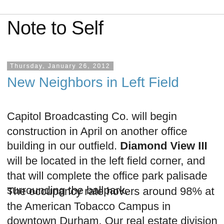Note to Self
Thursday, January 26, 2012
New Neighbors in Left Field
Capitol Broadcasting Co. will begin construction in April on another office building in our outfield. Diamond View III will be located in the left field corner, and that will complete the office park palisade surrounding the ballpark.
The occupancy rate hovers around 98% at the American Tobacco Campus in downtown Durham. Our real estate division aims to